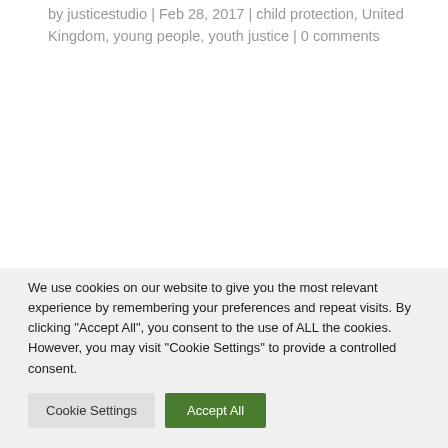by justicestudio | Feb 28, 2017 | child protection, United Kingdom, young people, youth justice | 0 comments
We use cookies on our website to give you the most relevant experience by remembering your preferences and repeat visits. By clicking "Accept All", you consent to the use of ALL the cookies. However, you may visit "Cookie Settings" to provide a controlled consent.